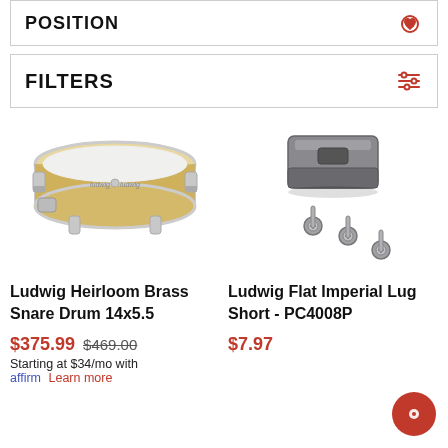POSITION
FILTERS
[Figure (photo): Ludwig Heirloom Brass Snare Drum 14x5.5 - gold/brass metal snare drum with chrome hardware]
Ludwig Heirloom Brass Snare Drum 14x5.5
$375.99  $469.00  Starting at $34/mo with affirm Learn more
[Figure (photo): Ludwig Flat Imperial Lug Short - PC4008P - chrome/gunmetal lug hardware with bolts]
Ludwig Flat Imperial Lug Short - PC4008P
$7.97